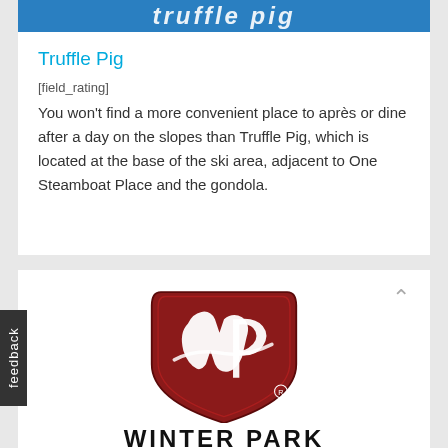[Figure (screenshot): Blue banner with white italic bold text reading 'truffle pig' partially cropped at top]
Truffle Pig
[field_rating]
You won't find a more convenient place to après or dine after a day on the slopes than Truffle Pig, which is located at the base of the ski area, adjacent to One Steamboat Place and the gondola.
[Figure (logo): Winter Park ski resort logo: dark red shield shape with white stylized WP letters and swirl design, with registered trademark symbol]
WINTER PARK